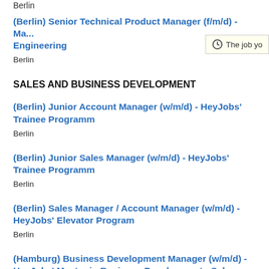Berlin
Senior Technical Product Manager (f/m/d) - Ma... Engineering
Berlin
SALES AND BUSINESS DEVELOPMENT
(Berlin) Junior Account Manager (w/m/d) - HeyJobs' Trainee Programm
Berlin
(Berlin) Junior Sales Manager (w/m/d) - HeyJobs' Trainee Programm
Berlin
(Berlin) Sales Manager / Account Manager (w/m/d) - HeyJobs' Elevator Program
Berlin
(Hamburg) Business Development Manager (w/m/d) - HeyJobs' Master in Business Development - Sales